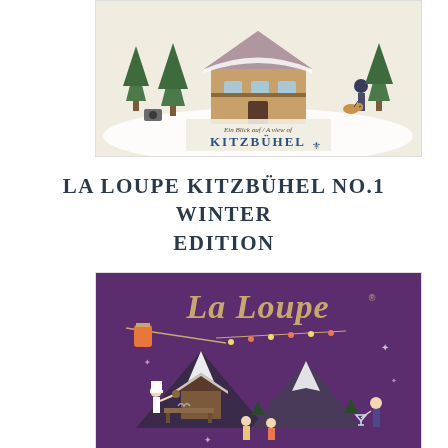[Figure (illustration): Illustrated cover of La Loupe Kitzbühel magazine showing a winter alpine village scene with a chalet, trees, person walking a dog, and text 'Ein Blick auf / A view of KITZBÜHEL' on a beige/cream background.]
LA LOUPE KITZBÜHEL NO.1 WINTER EDITION
[Figure (illustration): Cover of La Loupe magazine on a dark purple background showing alpine winter scene with mountains, chalet, cable car gondola, string lights, chef, and people, with 'La Loupe' logo in large tan/gold lettering at the top.]